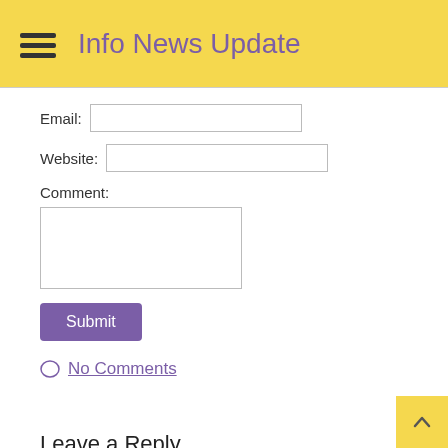Info News Update
Email:
Website:
Comment:
Submit
No Comments
Leave a Reply
Your email address will not be published. Required fields